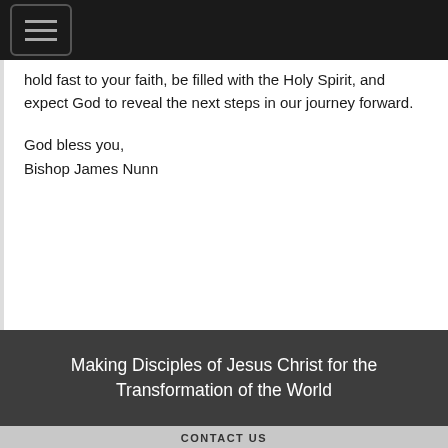[Figure (screenshot): Navigation hamburger menu button icon with three horizontal lines, on dark background]
hold fast to your faith, be filled with the Holy Spirit, and expect God to reveal the next steps in our journey forward.
God bless you,
Bishop James Nunn
Making Disciples of Jesus Christ for the Transformation of the World
CONTACT US